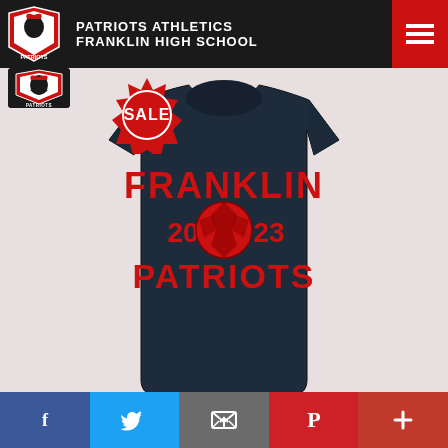PATRIOTS ATHLETICS FRANKLIN HIGH SCHOOL
[Figure (logo): Franklin Patriots shield logo - small version below header]
[Figure (photo): Navy blue t-shirt with red FRANKLIN 2023 PATRIOTS soccer ball graphic on chest, with SALE badge in upper left]
Facebook, Twitter, Email, Pinterest, Plus social share buttons